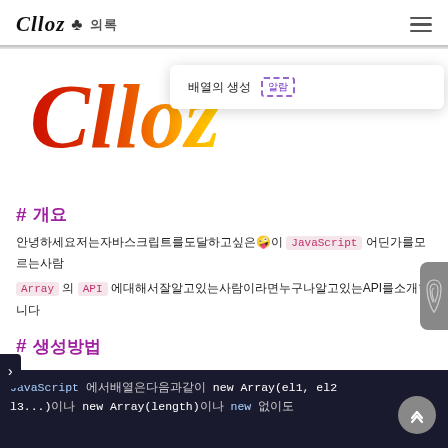Clloz ☘ 의록 (nav logo and hamburger menu)
[Figure (screenshot): Clloz colorful script logo in red-orange-yellow gradient with a tooltip overlay showing Korean text and a dashed purple badge]
# 개요
안녕하세요저는자바스크립트를도달하고싶은🤪이 JavaScript 어딘가를모르는사람
Array 의 API 에대해서잘알고있는사람이라면누구나알고있는API를소개합니다
# 생성방법
JavaScript 에서배열은다음과같이 new Array(el1, el2, el3...) 이나 new Array(length) 이나 new 없이도